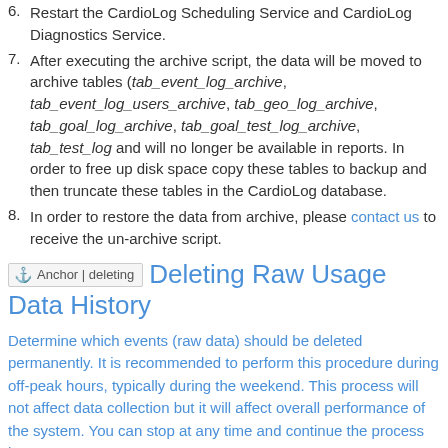6. Restart the CardioLog Scheduling Service and CardioLog Diagnostics Service.
7. After executing the archive script, the data will be moved to archive tables (tab_event_log_archive, tab_event_log_users_archive, tab_geo_log_archive, tab_goal_log_archive, tab_goal_test_log_archive, tab_test_log and will no longer be available in reports. In order to free up disk space copy these tables to backup and then truncate these tables in the CardioLog database.
8. In order to restore the data from archive, please contact us to receive the un-archive script.
Deleting Raw Usage Data History
Determine which events (raw data) should be deleted permanently. It is recommended to perform this procedure during off-peak hours, typically during the weekend. This process will not affect data collection but it will affect overall performance of the system. You can stop at any time and continue the process later.